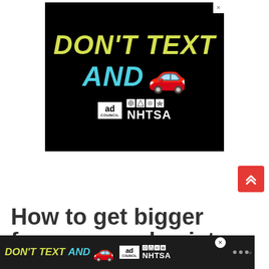[Figure (illustration): NHTSA 'Don't Text and Drive' public service advertisement banner. Black background with bold yellow text 'DON'T TEXT' and cyan/light-blue text 'AND' followed by a red car emoji. Ad Council and NHTSA logos at the bottom.]
How to get bigger forearms and wrists
[Figure (illustration): Bottom banner ad: NHTSA 'Don't Text and Drive' ad in dark bar with yellow 'DON'T TEXT', cyan 'AND', red car emoji, Ad Council and NHTSA logos, and a close button.]